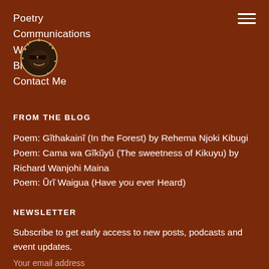Poetry
Communications
Writing
Blog
Contact Me
[Figure (illustration): Small circular logo icon with a stylized face wearing sunglasses, decorated with dots, resembling a sun or mask motif]
FROM THE BLOG
Poem: Gĩthakainĩ (In the Forest) by Rehema Njoki Kibugi
Poem: Cama wa Gĩkũyũ (The sweetness of Kikuyu) by Richard Wanjohi Maina
Poem: Ũrĩ Waigua (Have you ever Heard)
NEWSLETTER
Subscribe to get early access to new posts, podcasts and event updates.
Your email address